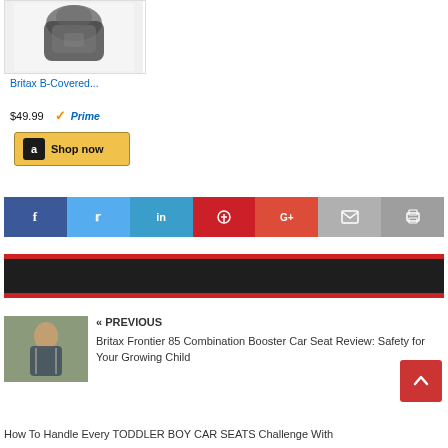[Figure (photo): Product photo of Britax B-Covered car seat cover in black/grey]
Britax B-Covered...
$49.99  ✓Prime
[Figure (other): Amazon Shop now button]
[Figure (infographic): Social sharing bar with Facebook, Twitter, LinkedIn, Pinterest, Google+, Email, Print buttons]
[Figure (other): Dark banner with red border]
[Figure (photo): Thumbnail photo of child in car seat]
« PREVIOUS
Britax Frontier 85 Combination Booster Car Seat Review: Safety for Your Growing Child
How To Handle Every TODDLER BOY CAR SEATS Challenge With